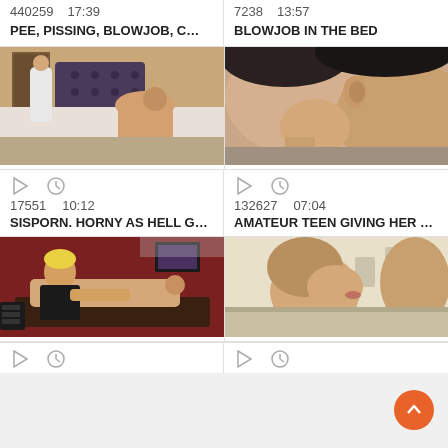440259  17:39
7238  13:57
PEE, PISSING, BLOWJOB, C…
BLOWJOB IN THE BED
[Figure (photo): Two people in a bedroom scene, one in a white robe standing in a doorway, another on white bed sheets. SIS PORN watermark.]
[Figure (photo): Close-up of two people, one with dark hair, intimate scene.]
17551  10:12
132627  07:04
SISPORN. HORNY AS HELL G…
AMATEUR TEEN GIVING HER …
[Figure (photo): Woman with short blonde hair in black clothing interacting with a man lying on a table in a red-walled room.]
[Figure (photo): Young woman with light brown hair in an intimate scene, gymnasium background.]
play and clock icons (bottom row, partially visible)